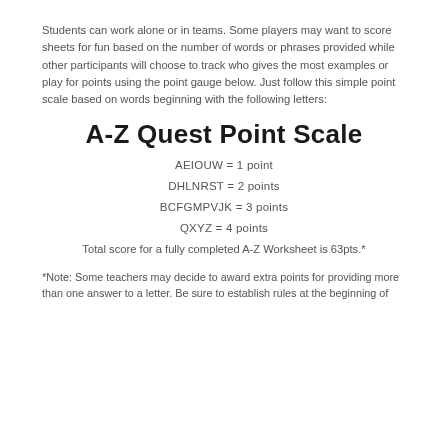Students can work alone or in teams. Some players may want to score sheets for fun based on the number of words or phrases provided while other participants will choose to track who gives the most examples or play for points using the point gauge below. Just follow this simple point scale based on words beginning with the following letters:
A-Z Quest Point Scale
AEIOUW = 1 point
DHLNRST = 2 points
BCFGMPVJK = 3 points
QXYZ = 4 points
Total score for a fully completed A-Z Worksheet is 63pts.*
*Note: Some teachers may decide to award extra points for providing more than one answer to a letter. Be sure to establish rules at the beginning of